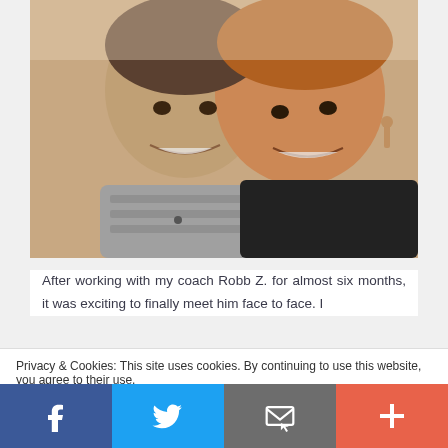[Figure (photo): A smiling couple taking a selfie. The man on the left wears a grey patterned shirt; the woman on the right wears a black top and drop earrings. Both are smiling broadly.]
After working with my coach Robb Z. for almost six months, it was exciting to finally meet him face to face. I
Privacy & Cookies: This site uses cookies. By continuing to use this website, you agree to their use.
To find out more, including how to control cookies, see here: Cookie Policy